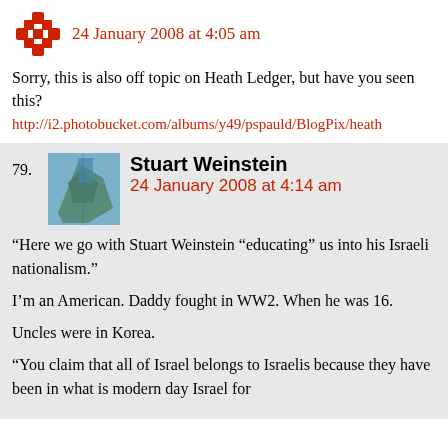24 January 2008 at 4:05 am
Sorry, this is also off topic on Heath Ledger, but have you seen this?
http://i2.photobucket.com/albums/y49/pspauld/BlogPix/heath
79. Stuart Weinstein
24 January 2008 at 4:14 am
“Here we go with Stuart Weinstein “educating” us into his Israeli nationalism.”

I’m an American. Daddy fought in WW2. When he was 16.

Uncles were in Korea.

“You claim that all of Israel belongs to Israelis because they have been in what is modern day Israel for